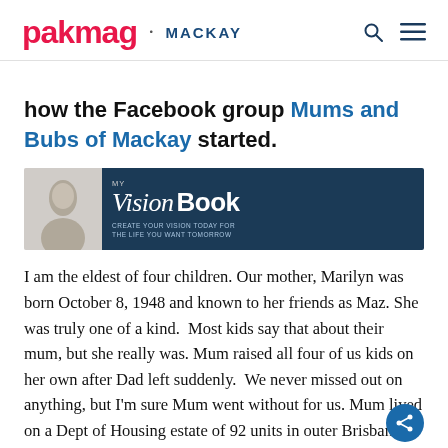pakmag · MACKAY
how the Facebook group Mums and Bubs of Mackay started.
[Figure (illustration): Advertisement banner for 'My Vision Book - Create your vision today for the life you want tomorrow'. Dark navy background with italic cursive and bold typography. Small image of a person on the left side.]
I am the eldest of four children. Our mother, Marilyn was born October 8, 1948 and known to her friends as Maz. She was truly one of a kind.  Most kids say that about their mum, but she really was. Mum raised all four of us kids on her own after Dad left suddenly.  We never missed out on anything, but I'm sure Mum went without for us. Mum lived on a Dept of Housing estate of 92 units in outer Brisbane.  She was a founding committee member and volunteer for the local Community Centre. She worked tirelessly to